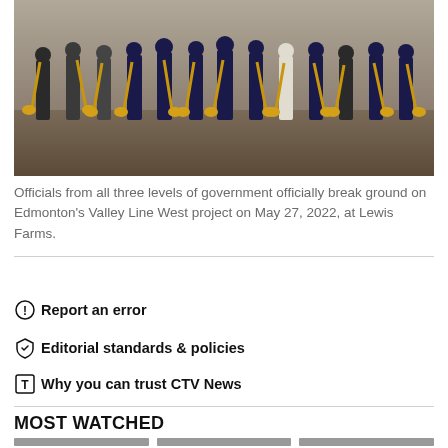[Figure (photo): Group of officials from all three levels of government at a groundbreaking ceremony, each holding golden shovels, standing on dirt ground.]
Officials from all three levels of government officially break ground on Edmonton's Valley Line West project on May 27, 2022, at Lewis Farms.
Report an error
Editorial standards & policies
Why you can trust CTV News
MOST WATCHED